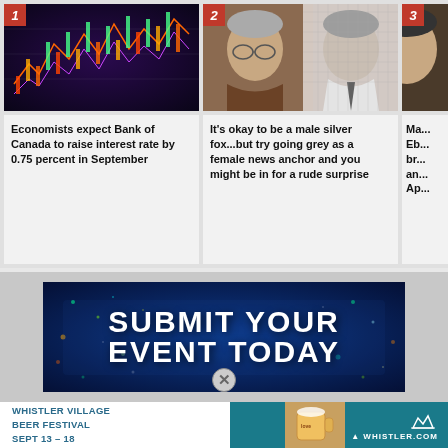[Figure (photo): Stock market chart with colorful candlesticks on dark background]
Economists expect Bank of Canada to raise interest rate by 0.75 percent in September
[Figure (photo): Two older men, one with grey hair and glasses, one with salt-and-pepper hair]
It's okay to be a male silver fox...but try going grey as a female news anchor and you might be in for a rude surprise
[Figure (photo): Partially visible person, article 3]
Ma... Eb... br... an... Ap...
[Figure (infographic): Submit Your Event Today banner advertisement with dark blue/teal background and particle effects]
SUBMIT YOUR EVENT TODAY
[Figure (advertisement): Whistler Village Beer Festival Sept 13-18 advertisement with Whistler.com logo]